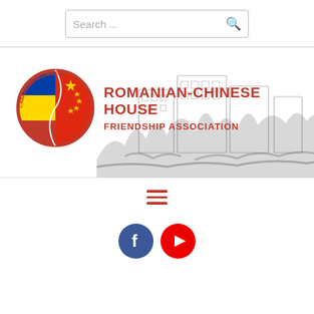[Figure (screenshot): Search bar with placeholder text 'Search ...' and a magnifying glass icon on the right]
[Figure (logo): Romanian-Chinese House Friendship Association banner with circular logo (Casa Romano-Chineza), organization name in red, and a monochrome building/landscape sketch in the background]
[Figure (infographic): Hamburger menu icon with three red horizontal lines]
[Figure (infographic): Social media icons: Facebook (blue circle with 'f') and YouTube (red circle with play button)]